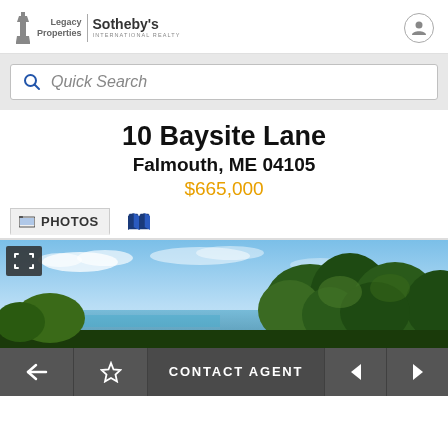Legacy Properties Sotheby's International Realty
Quick Search
10 Baysite Lane
Falmouth, ME 04105
$665,000
PHOTOS
[Figure (photo): Outdoor landscape photo showing blue sky with clouds, calm water body, green trees and foliage]
CONTACT AGENT navigation bar with back, favorite, contact agent, previous, next buttons